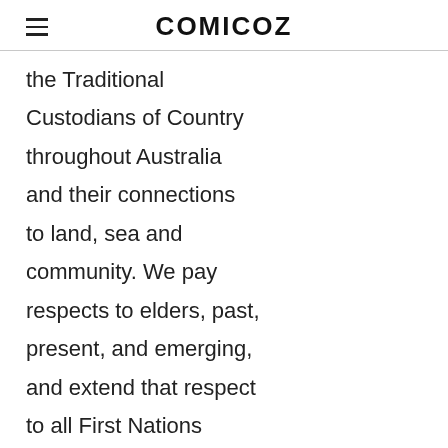COMICOZ
the Traditional Custodians of Country throughout Australia and their connections to land, sea and community. We pay respects to elders, past, present, and emerging, and extend that respect to all First Nations peoples.